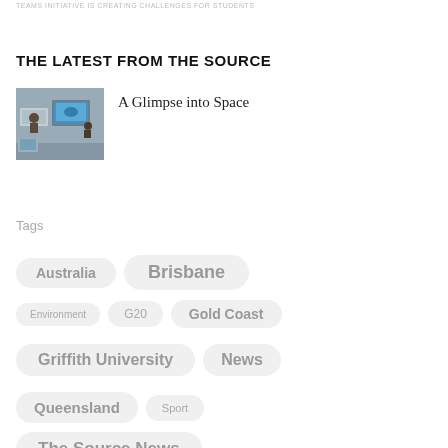TEAMS INITIATIVE IS CREATING CHALLENGES FOR STUDENTS
THE LATEST FROM THE SOURCE
[Figure (photo): People working at computers/monitors in a newsroom or control room setting; a blue screen is visible on a monitor.]
A Glimpse into Space
Tags
Australia
Brisbane
Environment
G20
Gold Coast
Griffith University
News
Queensland
Sport
The Source News